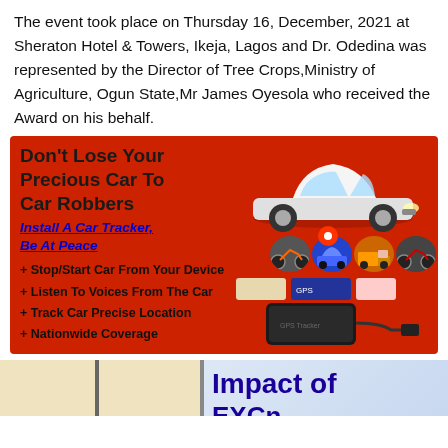The event took place on Thursday 16, December, 2021 at Sheraton Hotel & Towers, Ikeja, Lagos and Dr. Odedina was represented by the Director of Tree Crops,Ministry of Agriculture, Ogun State,Mr James Oyesola who received the Award on his behalf.
[Figure (infographic): Red advertisement banner for car tracker installation. Contains bold black text 'Don't Lose Your Precious Car To Car Robbers', blue italic underlined text 'Install A Car Tracker, Be At Peace', features list including Stop/Start Car From Your Device, Listen To Voices From The Car, Track Car Precise Location, Nationwide Coverage, phone number 09071042960 in blue. Right side shows a white Toyota sedan car, small vehicle icons (motorcycle, car, truck, motorcycle), and a GPS tracker device image.]
[Figure (photo): Bottom partial image showing left side with what appears to be a light-colored background with a vertical dark divider, and right side with text 'Impact of' in bold dark blue/purple and partial text 'EXCn' or similar partially visible.]